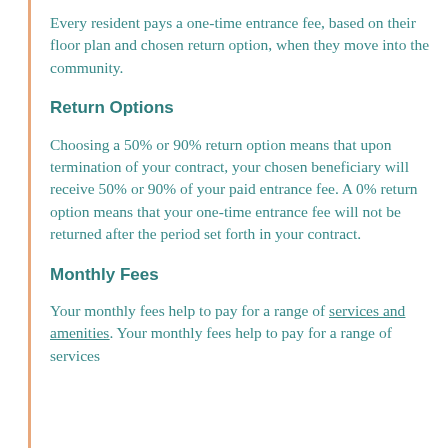Every resident pays a one-time entrance fee, based on their floor plan and chosen return option, when they move into the community.
Return Options
Choosing a 50% or 90% return option means that upon termination of your contract, your chosen beneficiary will receive 50% or 90% of your paid entrance fee. A 0% return option means that your one-time entrance fee will not be returned after the period set forth in your contract.
Monthly Fees
Your monthly fees help to pay for a range of services and amenities. Your monthly fees help to pay for a range of services